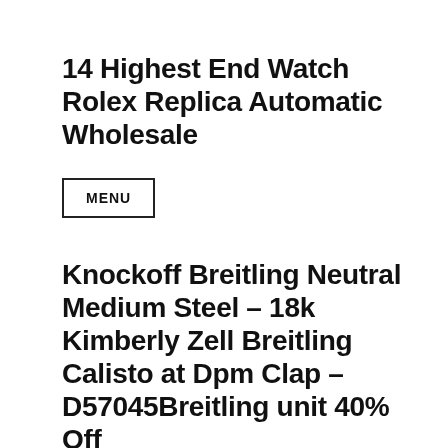14 Highest End Watch Rolex Replica Automatic Wholesale
MENU
Knockoff Breitling Neutral Medium Steel – 18k Kimberly Zell Breitling Calisto at Dpm Clap – D57045Breitling unit 40% Off